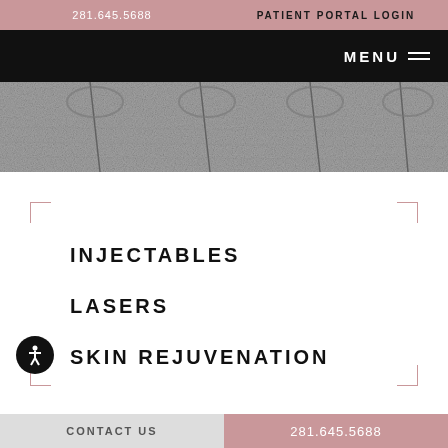281.645.5688   PATIENT PORTAL LOGIN
[Figure (screenshot): Navigation bar with MENU text and hamburger icon on black background]
[Figure (photo): Close-up black and white image of needles or sutures going into skin texture]
INJECTABLES
LASERS
SKIN REJUVENATION
CONTACT US   281.645.5688